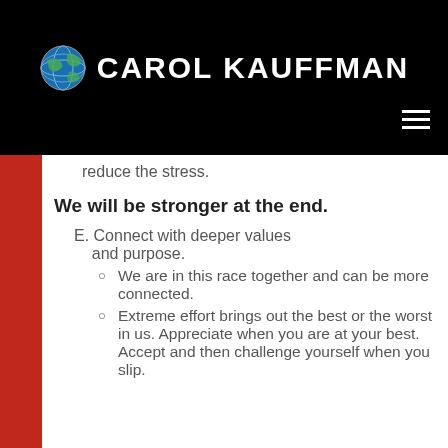CAROL KAUFFMAN
reduce the stress.
We will be stronger at the end.
E. Connect with deeper values and purpose.
We are in this race together and can be more connected.
Extreme effort brings out the best or the worst in us. Appreciate when you are at your best. Accept and then challenge yourself when you slip.